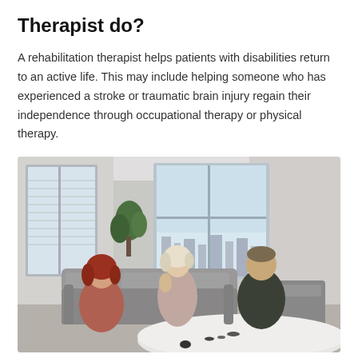Therapist do?
A rehabilitation therapist helps patients with disabilities return to an active life. This may include helping someone who has experienced a stroke or traumatic brain injury regain their independence through occupational therapy or physical therapy.
[Figure (photo): Three people seated in a bright office room with large windows. A woman with red hair on the left, a woman with light blonde hair in the center speaking, and a man with short hair on the right. There is a round white table in the foreground and a plant visible near the windows.]